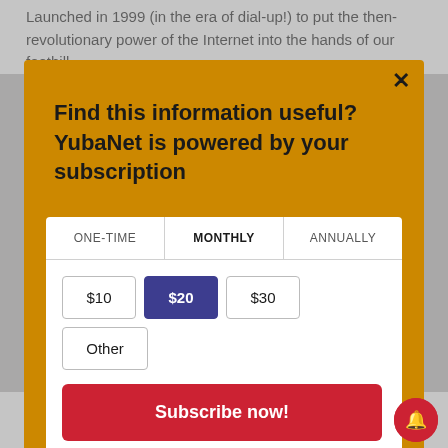Launched in 1999 (in the era of dial-up!) to put the then-revolutionary power of the Internet into the hands of our foothill
Find this information useful? YubaNet is powered by your subscription
| ONE-TIME | MONTHLY | ANNUALLY |
| --- | --- | --- |
$10
$20
$30
Other
Subscribe now!
Search